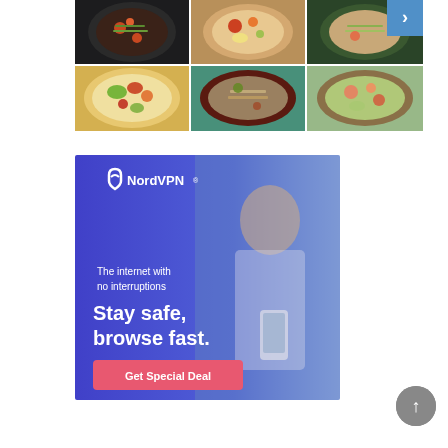[Figure (photo): A 2x3 grid of food bowl photos showing colorful salads and grain bowls, with a blue navigation arrow button at top right]
[Figure (photo): NordVPN advertisement banner with blue gradient background, woman looking at phone, text reading 'The internet with no interruptions', 'Stay safe, browse fast.' and a pink 'Get Special Deal' button]